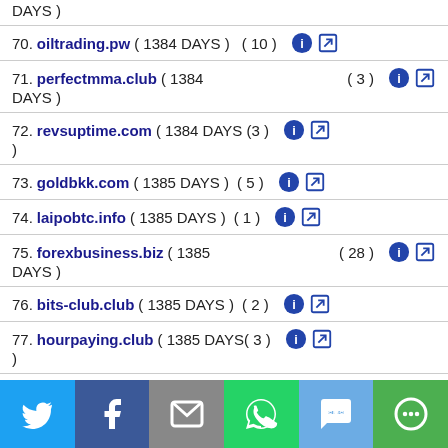DAYS )
70. oiltrading.pw ( 1384 DAYS ) ( 10 )
71. perfectmma.club ( 1384 DAYS ) ( 3 )
72. revsuptime.com ( 1384 DAYS ) ( 3 )
73. goldbkk.com ( 1385 DAYS ) ( 5 )
74. laipobtc.info ( 1385 DAYS ) ( 1 )
75. forexbusiness.biz ( 1385 DAYS ) ( 28 )
76. bits-club.club ( 1385 DAYS ) ( 2 )
77. hourpaying.club ( 1385 DAYS ) ( 3 )
78. ah-coins.com ( 1385 DAYS ) ( 19 )
79. trustedearning.pw ( 1385 DAYS ) ( 3 )
[Figure (infographic): Social sharing bar with Twitter, Facebook, Email, WhatsApp, SMS, and More buttons]